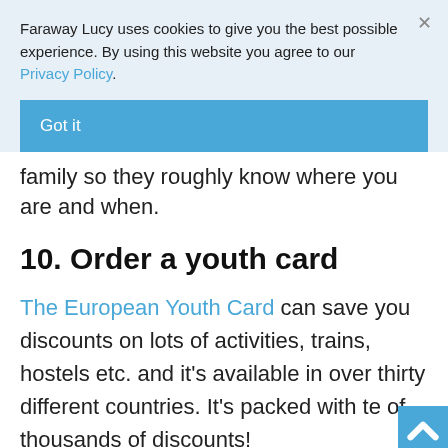Faraway Lucy uses cookies to give you the best possible experience. By using this website you agree to our Privacy Policy.
Got it
family so they roughly know where you are and when.
10. Order a youth card
The European Youth Card can save you discounts on lots of activities, trains, hostels etc. and it's available in over thirty different countries. It's packed with tens of thousands of discounts!